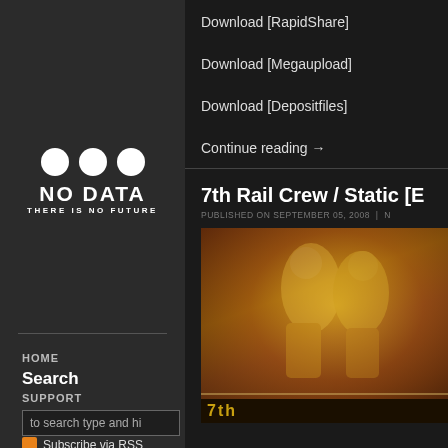[Figure (logo): No Data - There Is No Future logo with three white circles above bold white text]
HOME
Search
SUPPORT
to search type and hi
Subscribe via RSS
Download [RapidShare]
Download [Megaupload]
Download [Depositfiles]
Continue reading →
7th Rail Crew / Static [E
PUBLISHED ON SEPTEMBER 05, 2008  |  N
[Figure (photo): Vintage sepia/yellow toned image of two wrestlers in a boxing ring, with stylized yellow and brown tones. Text '7th' visible at bottom.]